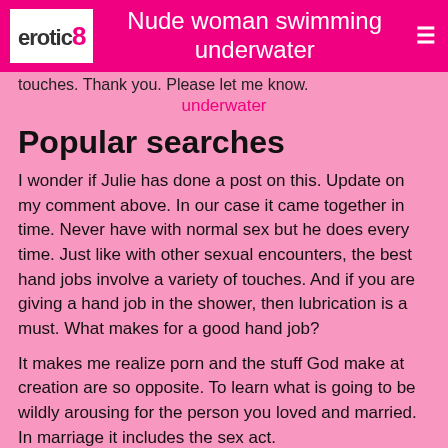erotic8 — Nude woman swimming underwater
touches. Thank you. Please let me know.
underwater
Popular searches
I wonder if Julie has done a post on this. Update on my comment above. In our case it came together in time. Never have with normal sex but he does every time. Just like with other sexual encounters, the best hand jobs involve a variety of touches. And if you are giving a hand job in the shower, then lubrication is a must. What makes for a good hand job?
It makes me realize porn and the stuff God make at creation are so opposite. To learn what is going to be wildly arousing for the person you loved and married. In marriage it includes the sex act.